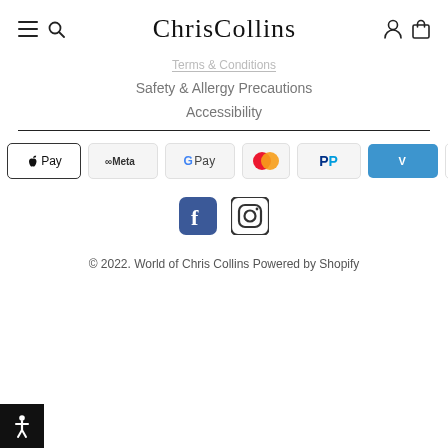ChrisCollins
Terms & Conditions
Safety & Allergy Precautions
Accessibility
[Figure (other): Payment method logos: American Express, Apple Pay, Meta Pay, Google Pay, Mastercard, PayPal, Venmo, Visa]
[Figure (other): Social media icons: Facebook and Instagram]
© 2022. World of Chris Collins Powered by Shopify